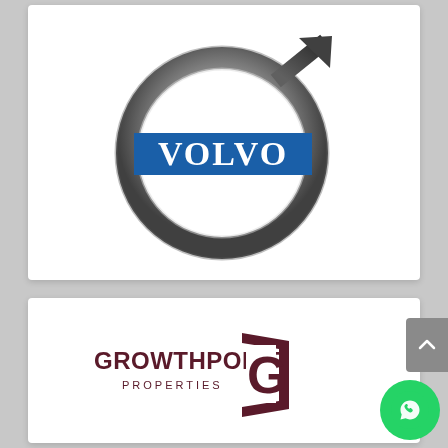[Figure (logo): Volvo logo: silver metallic circle/ring with an arrow pointing upper-right, and a blue rectangular banner across the middle with white serif text 'VOLVO']
[Figure (logo): Growthpoint Properties logo: dark red/maroon text 'GROWTHPOINT' with 'PROPERTIES' below in smaller letters, beside a square bracket with a stylized G letterform]